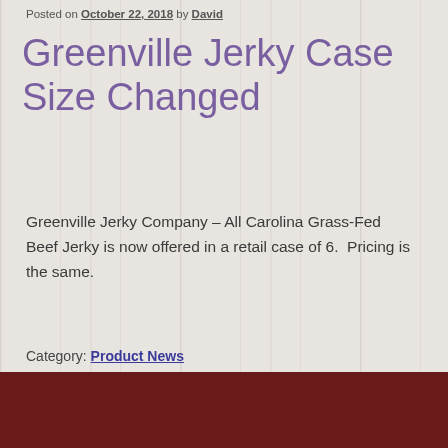Posted on October 22, 2018 by David
Greenville Jerky Case Size Changed
Greenville Jerky Company – All Carolina Grass-Fed Beef Jerky is now offered in a retail case of 6.  Pricing is the same.
Category: Product News
[Figure (logo): Circular logo in footer area]